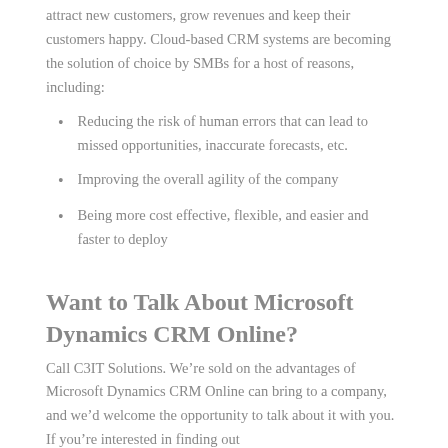attract new customers, grow revenues and keep their customers happy. Cloud-based CRM systems are becoming the solution of choice by SMBs for a host of reasons, including:
Reducing the risk of human errors that can lead to missed opportunities, inaccurate forecasts, etc.
Improving the overall agility of the company
Being more cost effective, flexible, and easier and faster to deploy
Want to Talk About Microsoft Dynamics CRM Online?
Call C3IT Solutions. We’re sold on the advantages of Microsoft Dynamics CRM Online can bring to a company, and we’d welcome the opportunity to talk about it with you. If you’re interested in finding out